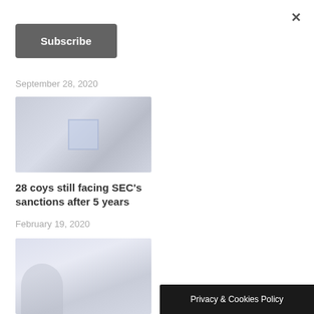×
Subscribe
September 28, 2020
[Figure (photo): Faded photograph of a building exterior with a logo/sign visible]
28 coys still facing SEC's sanctions after 5 years
February 19, 2020
[Figure (photo): Faded photograph of a person wearing glasses]
Privacy & Cookies Policy